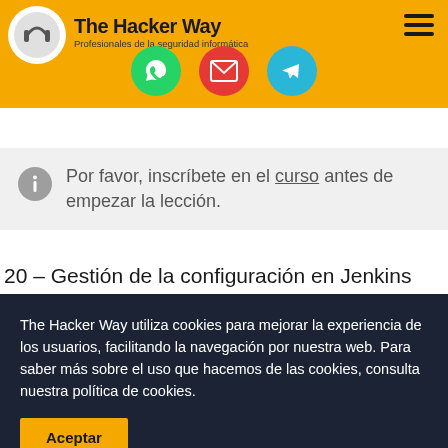The Hacker Way – Profesionales de la seguridad informática
[Figure (infographic): Three social media icons: WhatsApp (green circle), Email (red circle), Telegram (blue circle) on yellow background]
Por favor, inscríbete en el curso antes de empezar la lección.
20 – Gestión de la configuración en Jenkins
The Hacker Way utiliza cookies para mejorar la experiencia de los usuarios, facilitando la navegación por nuestra web. Para saber más sobre el uso que hacemos de las cookies, consulta nuestra política de cookies.
Aceptar